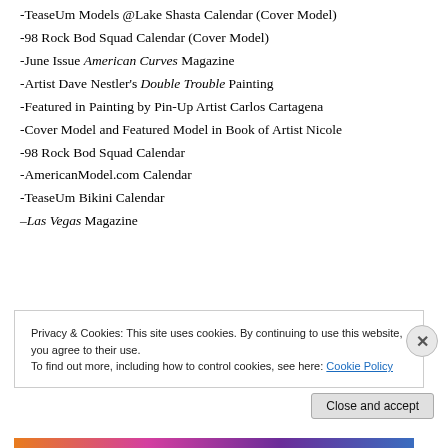-TeaseUm Models @Lake Shasta Calendar (Cover Model)
-98 Rock Bod Squad Calendar (Cover Model)
-June Issue American Curves Magazine
-Artist Dave Nestler's Double Trouble Painting
-Featured in Painting by Pin-Up Artist Carlos Cartagena
-Cover Model and Featured Model in Book of Artist Nicole
-98 Rock Bod Squad Calendar
-AmericanModel.com Calendar
-TeaseUm Bikini Calendar
–Las Vegas Magazine
Privacy & Cookies: This site uses cookies. By continuing to use this website, you agree to their use. To find out more, including how to control cookies, see here: Cookie Policy